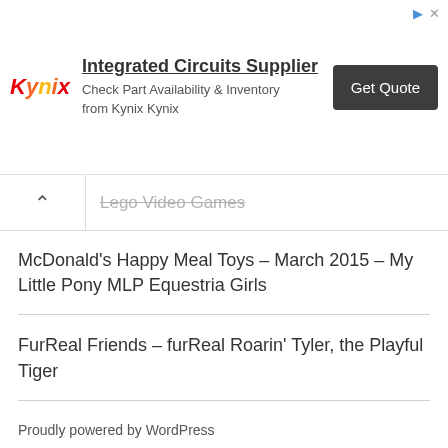[Figure (screenshot): Kynix advertisement banner: logo on left, 'Integrated Circuits Supplier' headline, 'Check Part Availability & Inventory from Kynix Kynix' subtitle, and 'Get Quote' dark button on right.]
Lego Video Games
McDonald’s Happy Meal Toys – March 2015 – My Little Pony MLP Equestria Girls
FurReal Friends – furReal Roarin’ Tyler, the Playful Tiger
Proudly powered by WordPress